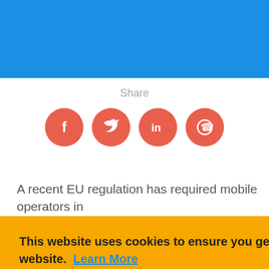Share
[Figure (infographic): Four social sharing buttons: Facebook (f), Twitter (bird icon), LinkedIn (in), WhatsApp (phone icon) — all orange circles with white icons]
A recent EU regulation has required mobile operators in
This website uses cookies to ensure you get the best experience on our website. Learn More
I agree